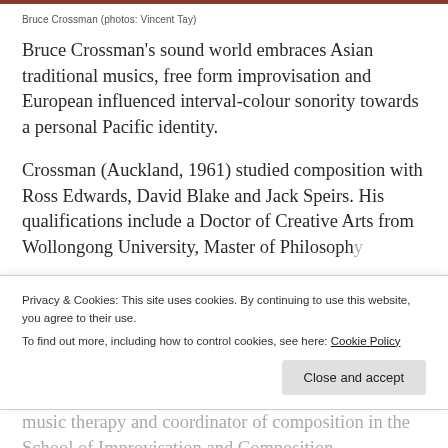Bruce Crossman (photos: Vincent Tay)
Bruce Crossman’s sound world embraces Asian traditional musics, free form improvisation and European influenced interval-colour sonority towards a personal Pacific identity.
Crossman (Auckland, 1961) studied composition with Ross Edwards, David Blake and Jack Speirs. His qualifications include a Doctor of Creative Arts from Wollongong University, Master of Philosophy
Privacy & Cookies: This site uses cookies. By continuing to use this website, you agree to their use.
To find out more, including how to control cookies, see here: Cookie Policy
music therapy and coordinator of composition in the School of Improvisation and Composition